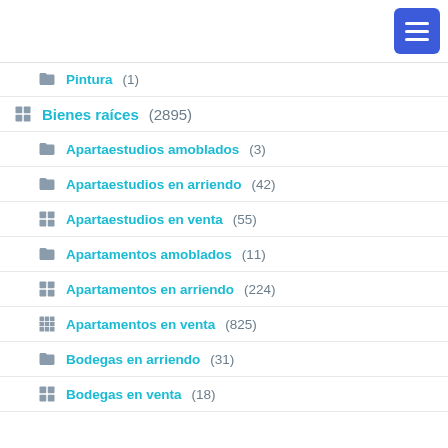Pintura (1)
Bienes raíces (2895)
Apartaestudios amoblados (3)
Apartaestudios en arriendo (42)
Apartaestudios en venta (55)
Apartamentos amoblados (11)
Apartamentos en arriendo (224)
Apartamentos en venta (825)
Bodegas en arriendo (31)
Bodegas en venta (18)